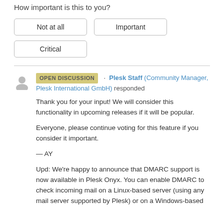How important is this to you?
Not at all
Important
Critical
OPEN DISCUSSION · Plesk Staff (Community Manager, Plesk International GmbH) responded
Thank you for your input! We will consider this functionality in upcoming releases if it will be popular.

Everyone, please continue voting for this feature if you consider it important.

— AY

Upd: We're happy to announce that DMARC support is now available in Plesk Onyx. You can enable DMARC to check incoming mail on a Linux-based server (using any mail server supported by Plesk) or on a Windows-based